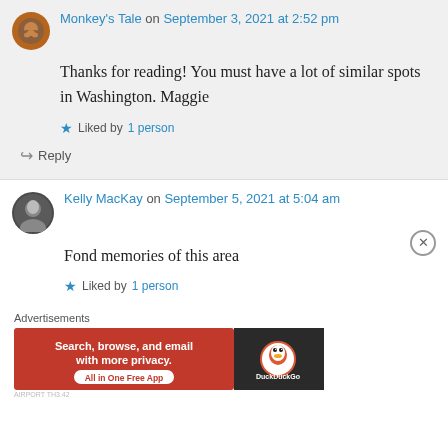Monkey's Tale on September 3, 2021 at 2:52 pm
Thanks for reading! You must have a lot of similar spots in Washington. Maggie
Liked by 1 person
Reply
Kelly MacKay on September 5, 2021 at 5:04 am
Fond memories of this area
Liked by 1 person
[Figure (screenshot): DuckDuckGo advertisement banner: Search, browse, and email with more privacy. All in One Free App]
Advertisements